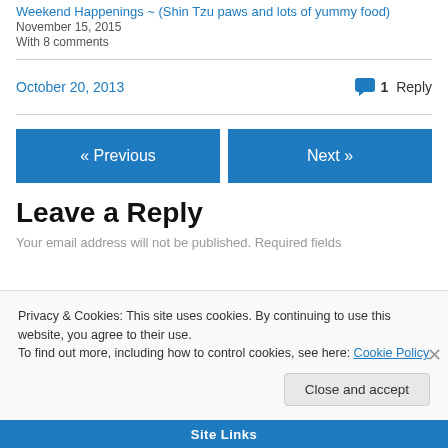Weekend Happenings ~ (Shin Tzu paws and lots of yummy food)
November 15, 2015
With 8 comments
October 20, 2013    1 Reply
« Previous
Next »
Leave a Reply
Your email address will not be published. Required fields
Privacy & Cookies: This site uses cookies. By continuing to use this website, you agree to their use.
To find out more, including how to control cookies, see here: Cookie Policy
Close and accept